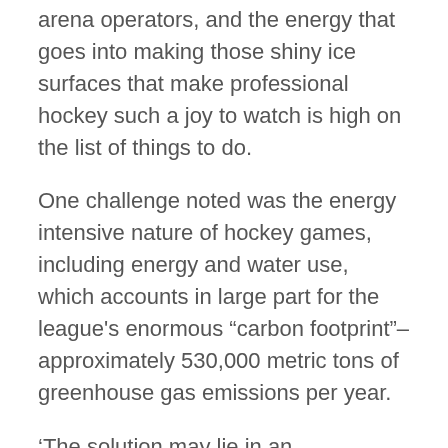arena operators, and the energy that goes into making those shiny ice surfaces that make professional hockey such a joy to watch is high on the list of things to do.
One challenge noted was the energy intensive nature of hockey games, including energy and water use, which accounts in large part for the league's enormous “carbon footprint”–approximately 530,000 metric tons of greenhouse gas emissions per year.
‘The solution may lie in an experimental program, tested in British Columbia, earlier this year.’
Since January 2014, 10 selected ice arenas throughout BC have been busy testing an innovative ice making technology called REALice that promised to reduce the electrical and gas